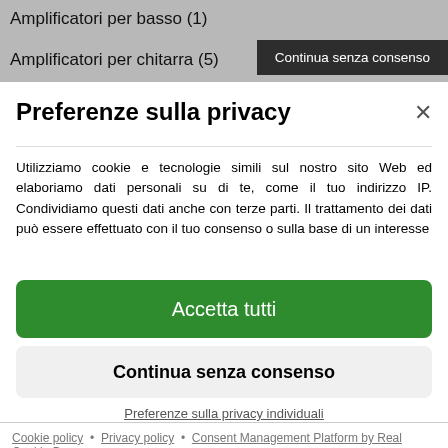Amplificatori per basso (1)
Amplificatori per chitarra (5)
Continua senza consenso
Preferenze sulla privacy
Utilizziamo cookie e tecnologie simili sul nostro sito Web ed elaboriamo dati personali su di te, come il tuo indirizzo IP. Condividiamo questi dati anche con terze parti. Il trattamento dei dati può essere effettuato con il tuo consenso o sulla base di un interesse
Accetta tutti
Continua senza consenso
Preferenze sulla privacy individuali
Cookie policy • Privacy policy • Consent Management Platform by Real Cookie Banner